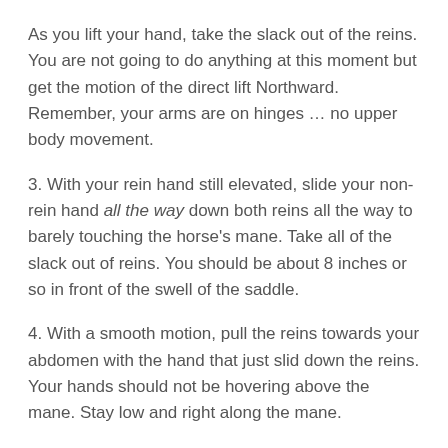As you lift your hand, take the slack out of the reins. You are not going to do anything at this moment but get the motion of the direct lift Northward. Remember, your arms are on hinges … no upper body movement.
3. With your rein hand still elevated, slide your non-rein hand all the way down both reins all the way to barely touching the horse's mane. Take all of the slack out of reins. You should be about 8 inches or so in front of the swell of the saddle.
4. With a smooth motion, pull the reins towards your abdomen with the hand that just slid down the reins. Your hands should not be hovering above the mane. Stay low and right along the mane.
5. In summary, here are the keys. Keep your trunk stable. Lift the reins straight up and then slide the other hand all